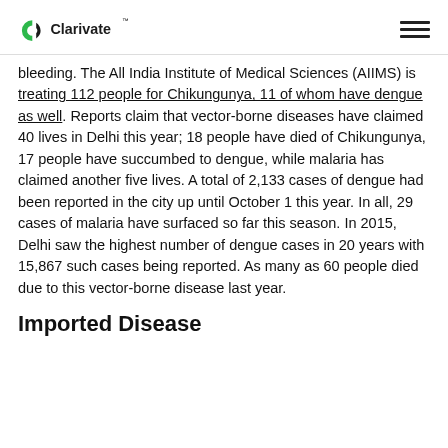Clarivate
bleeding. The All India Institute of Medical Sciences (AIIMS) is treating 112 people for Chikungunya, 11 of whom have dengue as well. Reports claim that vector-borne diseases have claimed 40 lives in Delhi this year; 18 people have died of Chikungunya, 17 people have succumbed to dengue, while malaria has claimed another five lives. A total of 2,133 cases of dengue had been reported in the city up until October 1 this year. In all, 29 cases of malaria have surfaced so far this season. In 2015, Delhi saw the highest number of dengue cases in 20 years with 15,867 such cases being reported. As many as 60 people died due to this vector-borne disease last year.
Imported Disease